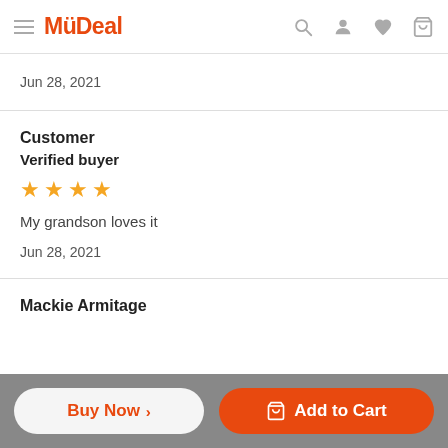MyDeal
Jun 28, 2021
Customer
Verified buyer
[Figure (other): 4 gold star rating]
My grandson loves it
Jun 28, 2021
Mackie Armitage
Great addition to the child's world. They can navigate...